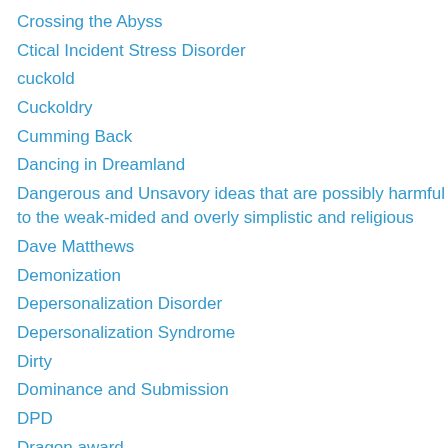Crossing the Abyss
Ctical Incident Stress Disorder
cuckold
Cuckoldry
Cumming Back
Dancing in Dreamland
Dangerous and Unsavory ideas that are possibly harmful to the weak-mided and overly simplistic and religious
Dave Matthews
Demonization
Depersonalization Disorder
Depersonalization Syndrome
Dirty
Dominance and Submission
DPD
Dragon award
Dream Theater or Jeff Beck
Drug Experience
Earth Mother
Economic Redistribution